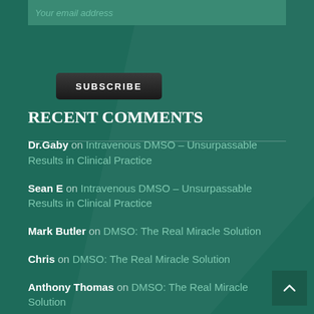Your email address
SUBSCRIBE
RECENT COMMENTS
Dr.Gaby on Intravenous DMSO – Unsurpassable Results in Clinical Practice
Sean E on Intravenous DMSO – Unsurpassable Results in Clinical Practice
Mark Butler on DMSO: The Real Miracle Solution
Chris on DMSO: The Real Miracle Solution
Anthony Thomas on DMSO: The Real Miracle Solution